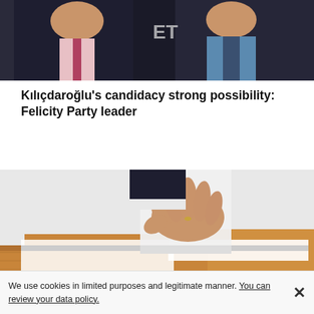[Figure (photo): Two people in suits standing next to each other, partially cropped at top of page]
Kılıçdaroğlu's candidacy strong possibility: Felicity Party leader
[Figure (photo): Hand inserting a ballot paper into a ballot box on a wooden table]
We use cookies in limited purposes and legitimate manner. You can review your data policy.